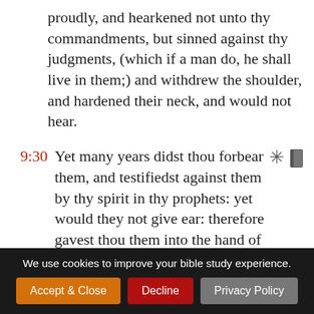proudly, and hearkened not unto thy commandments, but sinned against thy judgments, (which if a man do, he shall live in them;) and withdrew the shoulder, and hardened their neck, and would not hear.
9:30 Yet many years didst thou forbear them, and testifiedst against them by thy spirit in thy prophets: yet would they not give ear: therefore gavest thou them into the hand of the people of the lands.
9:31 Nevertheless for thy great mercies'
We use cookies to improve your bible study experience.